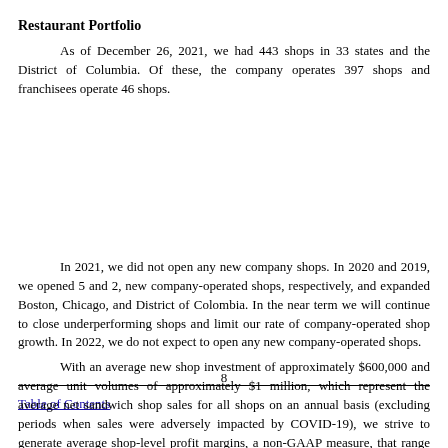Restaurant Portfolio
As of December 26, 2021, we had 443 shops in 33 states and the District of Columbia. Of these, the company operates 397 shops and franchisees operate 46 shops.
8
Table of Contents
In 2021, we did not open any new company shops. In 2020 and 2019, we opened 5 and 2, new company-operated shops, respectively, and expanded Boston, Chicago, and District of Colombia. In the near term we will continue to close underperforming shops and limit our rate of company-operated shop growth. In 2022, we do not expect to open any new company-operated shops.
With an average new shop investment of approximately $600,000 and average unit volumes of approximately $1 million, which represent the average net sandwich shop sales for all shops on an annual basis (excluding periods when sales were adversely impacted by COVID-19), we strive to generate average shop-level profit margins, a non-GAAP measure, that range from the